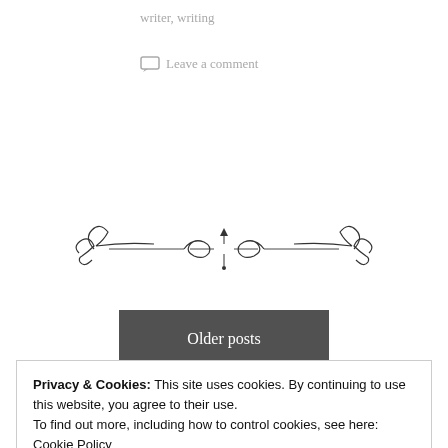writer, writing
Leave a comment
[Figure (illustration): Ornamental divider with scrollwork and bow design]
Older posts
Privacy & Cookies: This site uses cookies. By continuing to use this website, you agree to their use.
To find out more, including how to control cookies, see here: Cookie Policy
Close and accept